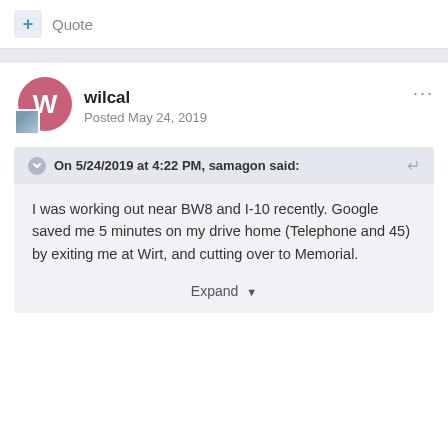+ Quote
wilcal
Posted May 24, 2019
On 5/24/2019 at 4:22 PM, samagon said:
I was working out near BW8 and I-10 recently. Google saved me 5 minutes on my drive home (Telephone and 45) by exiting me at Wirt, and cutting over to Memorial.
Expand